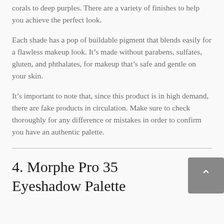corals to deep purples. There are a variety of finishes to help you achieve the perfect look.
Each shade has a pop of buildable pigment that blends easily for a flawless makeup look. It’s made without parabens, sulfates, gluten, and phthalates, for makeup that’s safe and gentle on your skin.
It’s important to note that, since this product is in high demand, there are fake products in circulation. Make sure to check thoroughly for any difference or mistakes in order to confirm you have an authentic palette.
4. Morphe Pro 35 Eyeshadow Palette